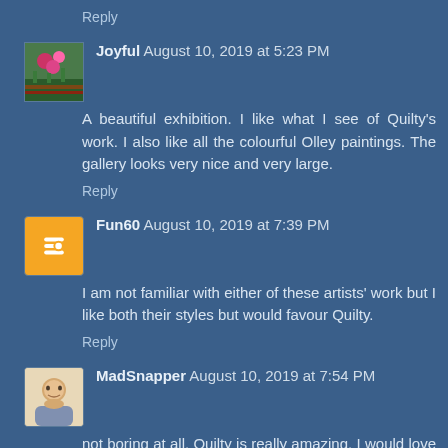Reply
Joyful August 10, 2019 at 5:23 PM
A beautiful exhibition. I like what I see of Quilty's work. I also like all the colourful Olley paintings. The gallery looks very nice and very large.
Reply
Fun60 August 10, 2019 at 7:39 PM
I am not familiar with either of these artists' work but I like both their styles but would favour Quilty.
Reply
MadSnapper August 10, 2019 at 7:54 PM
not boring at all. Quilty is really amazing, I would love to see those paintings. the detail is incredible.. the life jackets are heart breaking.. his painting of Ollie is fantastic. her art